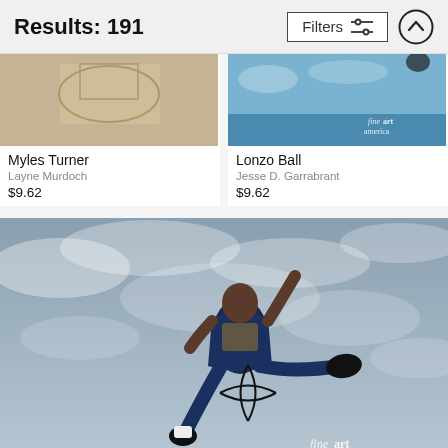Results: 191
Filters
[Figure (photo): Myles Turner basketball photo thumbnail (partial, top cropped)]
[Figure (photo): Lonzo Ball basketball photo thumbnail (partial, top cropped) with fine art america watermark]
Myles Turner
Layne Murdoch
$9.62
Lonzo Ball
Jesse D. Garrabrant
$9.62
[Figure (photo): Basketball player in Utah Jazz jersey leaping through cloudy sky holding a basketball, fine art america watermark in bottom right]